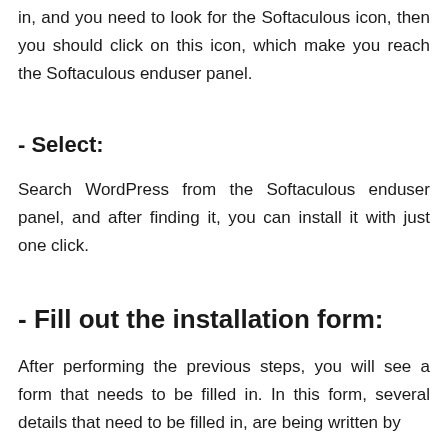in, and you need to look for the Softaculous icon, then you should click on this icon, which make you reach the Softaculous enduser panel.
- Select:
Search WordPress from the Softaculous enduser panel, and after finding it, you can install it with just one click.
- Fill out the installation form:
After performing the previous steps, you will see a form that needs to be filled in. In this form, several details that need to be filled in, are being written by